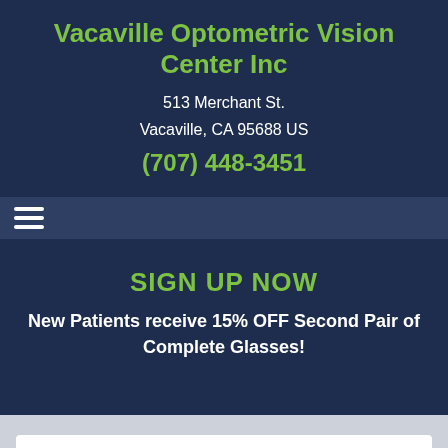Vacaville Optometric Vision Center Inc
513 Merchant St.
Vacaville, CA 95688 US
(707) 448-3451
SIGN UP NOW
New Patients receive 15% OFF Second Pair of Complete Glasses!
Home > Articles > What is Vision Therapy